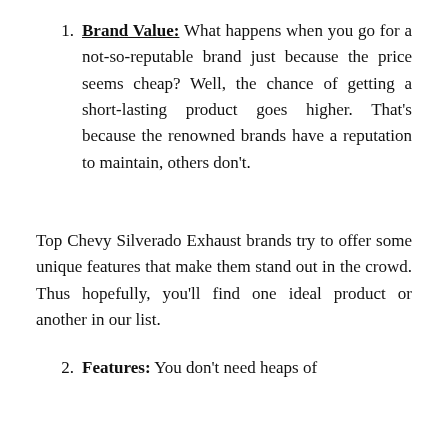Brand Value: What happens when you go for a not-so-reputable brand just because the price seems cheap? Well, the chance of getting a short-lasting product goes higher. That's because the renowned brands have a reputation to maintain, others don't.
Top Chevy Silverado Exhaust brands try to offer some unique features that make them stand out in the crowd. Thus hopefully, you'll find one ideal product or another in our list.
Features: You don't need heaps of